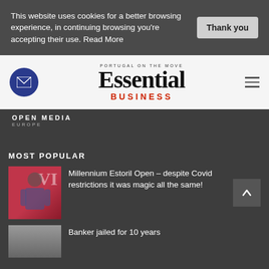This website uses cookies for a better browsing experience, in continuing browsing you're accepting their use. Read More
[Figure (logo): Essential Business magazine logo with Portugal on the Move tagline and envelope icon]
OPEN MEDIA EUROPE
MOST POPULAR
Millennium Estoril Open – despite Covid restrictions it was magic all the same!
Banker jailed for 10 years